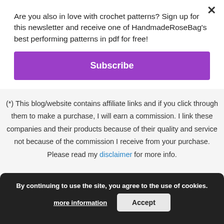Are you also in love with crochet patterns? Sign up for this newsletter and receive one of HandmadeRoseBag's best performing patterns in pdf for free!
Subscribe
(*) This blog/website contains affiliate links and if you click through them to make a purchase, I will earn a commission. I link these companies and their products because of their quality and service not because of the commission I receive from your purchase. Please read my disclaimer for more info.
Copyright ... WordPress ... The ...
By continuing to use the site, you agree to the use of cookies. more information  Accept